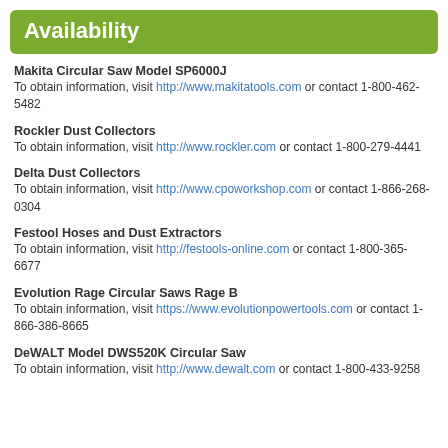Availability
Makita Circular Saw Model SP6000J
To obtain information, visit http://www.makitatools.com or contact 1-800-462-5482
Rockler Dust Collectors
To obtain information, visit http://www.rockler.com or contact 1-800-279-4441
Delta Dust Collectors
To obtain information, visit http://www.cpoworkshop.com or contact 1-866-268-0304
Festool Hoses and Dust Extractors
To obtain information, visit http://festools-online.com or contact 1-800-365-6677
Evolution Rage Circular Saws Rage B
To obtain information, visit https://www.evolutionpowertools.com or contact 1-866-386-8665
DeWALT Model DWS520K Circular Saw
To obtain information, visit http://www.dewalt.com or contact 1-800-433-9258